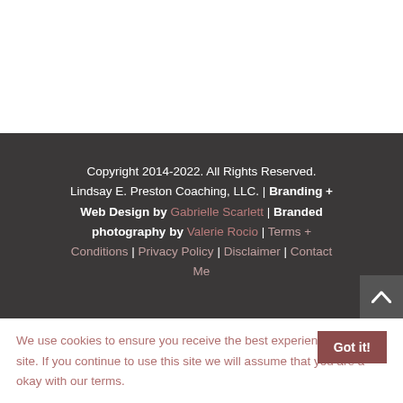Copyright 2014-2022. All Rights Reserved. Lindsay E. Preston Coaching, LLC. | Branding + Web Design by Gabrielle Scarlett | Branded photography by Valerie Rocio | Terms + Conditions | Privacy Policy | Disclaimer | Contact Me
We use cookies to ensure you receive the best experience on our site. If you continue to use this site we will assume that you are a-okay with our terms. Got it!
Learn More